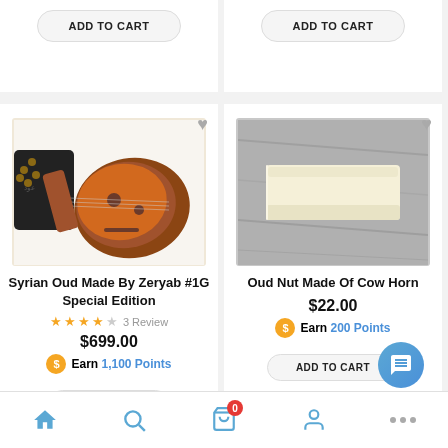[Figure (screenshot): Top portion of two e-commerce product cards with ADD TO CART buttons visible]
[Figure (photo): Syrian Oud instrument photo - wooden lute-like instrument]
Syrian Oud Made By Zeryab #1G Special Edition
3 Review
$699.00
Earn 1,100 Points
ADD TO CART
[Figure (photo): Oud Nut Made Of Cow Horn - cream/white rectangular block on grey background]
Oud Nut Made Of Cow Horn
$22.00
Earn 200 Points
ADD TO CART
Home | Search | Cart (0) | Account | More